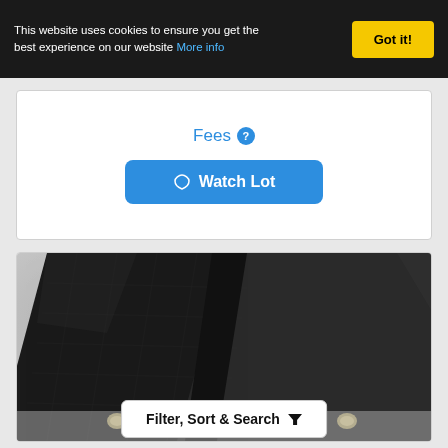This website uses cookies to ensure you get the best experience on our website More info
Got it!
Fees
Watch Lot
[Figure (photo): Close-up photo of black leather texture (possibly a handbag or belt) with small metallic/diamond studs or clasps visible at the bottom corners]
Filter, Sort & Search